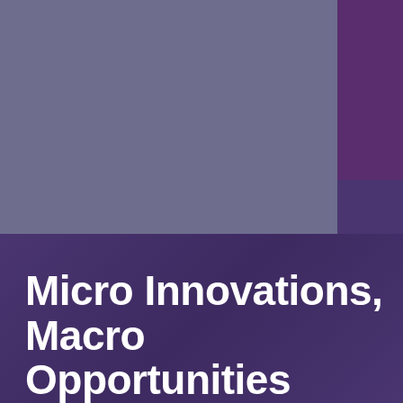[Figure (illustration): Cover page with two-tone purple/mauve color block design. Upper portion split into a large muted purple-grey rectangle on the left and a smaller darker purple rectangle in the top right corner. Lower portion is a deep purple gradient background.]
Micro Innovations, Macro Opportunities